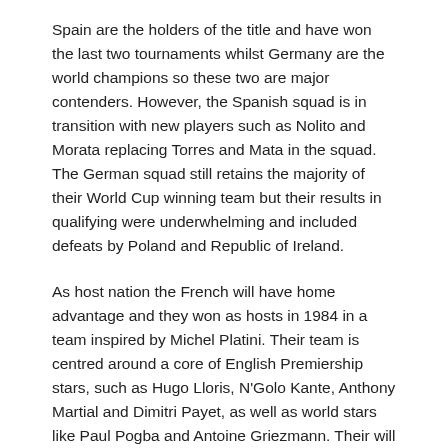Spain are the holders of the title and have won the last two tournaments whilst Germany are the world champions so these two are major contenders. However, the Spanish squad is in transition with new players such as Nolito and Morata replacing Torres and Mata in the squad. The German squad still retains the majority of their World Cup winning team but their results in qualifying were underwhelming and included defeats by Poland and Republic of Ireland.
As host nation the French will have home advantage and they won as hosts in 1984 in a team inspired by Michel Platini. Their team is centred around a core of English Premiership stars, such as Hugo Lloris, N'Golo Kante, Anthony Martial and Dimitri Payet, as well as world stars like Paul Pogba and Antoine Griezmann. Their will have become increasingly focused after the November terrorist attacks in Paris. The argument against a French triumph is a potential quarter or semi-final against the Germans.